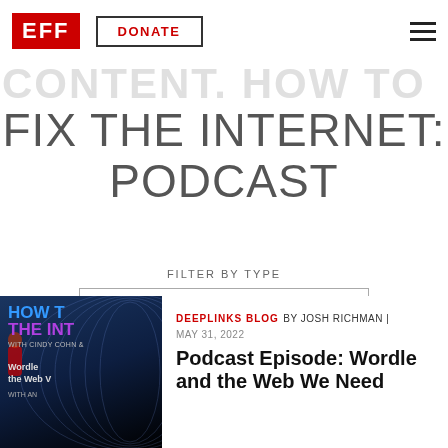EFF | DONATE
FIX THE INTERNET: PODCAST
FILTER BY TYPE
- ANY -
[Figure (photo): Podcast cover art for 'How to Fix the Internet' with Cindy Cohn, showing text about Wordle and the Web We Need]
DEEPLINKS BLOG BY JOSH RICHMAN | MAY 31, 2022
Podcast Episode: Wordle and the Web We Need